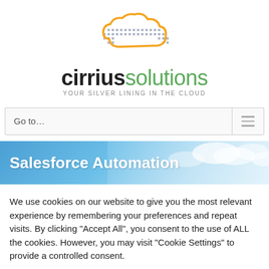[Figure (logo): Cirrius Solutions logo with orange cloud shape and dot-grid pattern]
cirriussolutions - YOUR SILVER LINING IN THE CLOUD
Go to...
[Figure (photo): Salesforce Automation hero banner with blue sky and clouds background]
Salesforce Automation
We use cookies on our website to give you the most relevant experience by remembering your preferences and repeat visits. By clicking "Accept All", you consent to the use of ALL the cookies. However, you may visit "Cookie Settings" to provide a controlled consent.
Cookie Settings | Accept